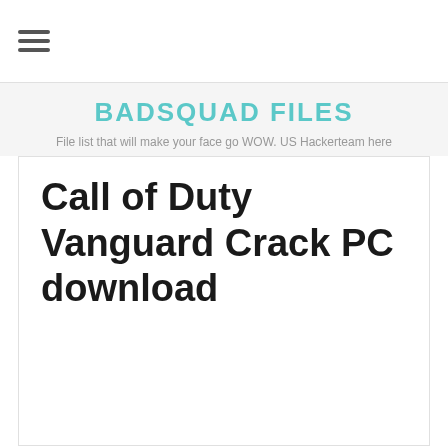[Figure (other): Hamburger menu icon with three horizontal lines]
BADSQUAD FILES
File list that will make your face go WOW. US Hackerteam here
Call of Duty Vanguard Crack PC download